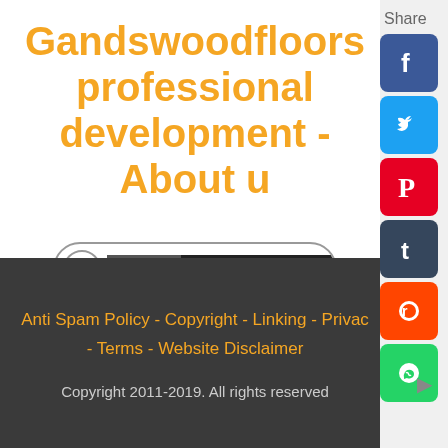Gandswoodfloors professional development - About u
Share
[Figure (logo): DMCA Protected badge with lock icon]
Anti Spam Policy - Copyright - Linking - Privacy - Terms - Website Disclaimer
Copyright 2011-2019. All rights reserved